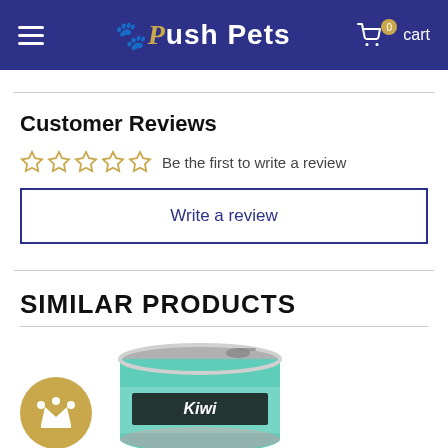Push Pets — 0 cart
Customer Reviews
☆ ☆ ☆ ☆ ☆  Be the first to write a review
Write a review
SIMILAR PRODUCTS
[Figure (photo): A gold circular crown badge and a teal pet food can product image]